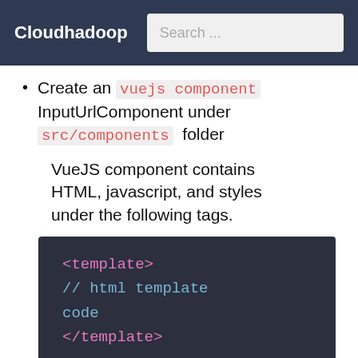Cloudhadoop  Search ...
Create an vuejs component InputUrlComponent under src/components folder
VueJS component contains HTML, javascript, and styles under the following tags.
[Figure (screenshot): Code block showing: <template> // html template code </template>]